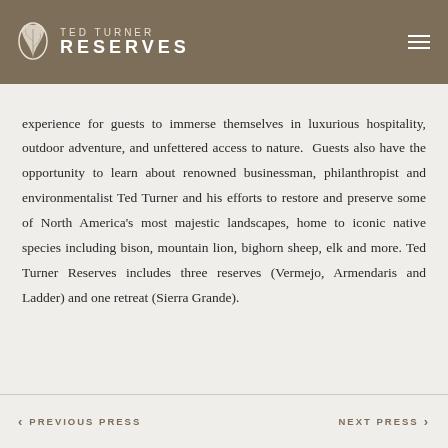TED TURNER RESERVES
experience for guests to immerse themselves in luxurious hospitality, outdoor adventure, and unfettered access to nature.  Guests also have the opportunity to learn about renowned businessman, philanthropist and environmentalist Ted Turner and his efforts to restore and preserve some of North America's most majestic landscapes, home to iconic native species including bison, mountain lion, bighorn sheep, elk and more. Ted Turner Reserves includes three reserves (Vermejo, Armendaris and Ladder) and one retreat (Sierra Grande).
PREVIOUS PRESS   NEXT PRESS